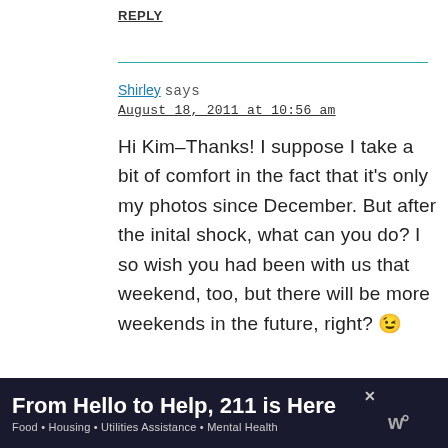REPLY
Shirley says
August 18, 2011 at 10:56 am
Hi Kim–Thanks! I suppose I take a bit of comfort in the fact that it's only my photos since December. But after the inital shock, what can you do? I so wish you had been with us that weekend, too, but there will be more weekends in the future, right? 😉
From Hello to Help, 211 is Here
Food • Housing • Utilities Assistance • Mental Health